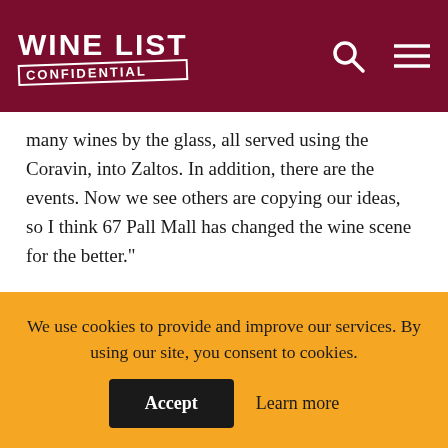WINE LIST CONFIDENTIAL
many wines by the glass, all served using the Coravin, into Zaltos. In addition, there are the events. Now we see others are copying our ideas, so I think 67 Pall Mall has changed the wine scene for the better."
The concept of a club built around accessibly-priced and perfectly-served fine wine has certainly shone a light on the positive role of a brilliant drinks
We use cookies to provide and improve our services. By using our site, you consent to cookies.
Accept   Learn more